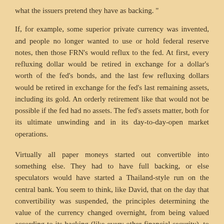what the issuers pretend they have as backing. "
If, for example, some superior private currency was invented, and people no longer wanted to use or hold federal reserve notes, then those FRN's would reflux to the fed. At first, every refluxing dollar would be retired in exchange for a dollar's worth of the fed's bonds, and the last few refluxing dollars would be retired in exchange for the fed's last remaining assets, including its gold. An orderly retirement like that would not be possible if the fed had no assets. The fed's assets matter, both for its ultimate unwinding and in its day-to-day-open market operations.
Virtually all paper moneys started out convertible into something else. They had to have full backing, or else speculators would have started a Thailand-style run on the central bank. You seem to think, like David, that on the day that convertibility was suspended, the principles determining the value of the currency changed overnight, from being valued according to its backing (like every other financial security), to being valued because of a belief that other people will value it. A circular argument if ever there